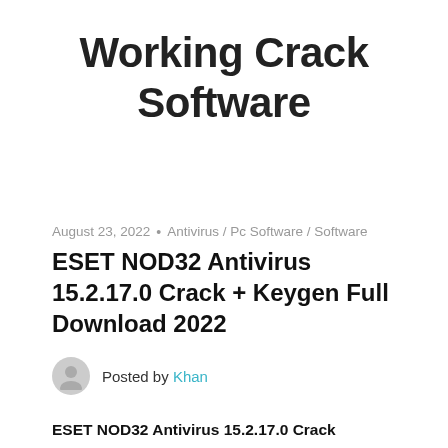Working Crack Software
August 23, 2022 • Antivirus / Pc Software / Software
ESET NOD32 Antivirus 15.2.17.0 Crack + Keygen Full Download 2022
Posted by Khan
ESET NOD32 Antivirus 15.2.17.0 Crack